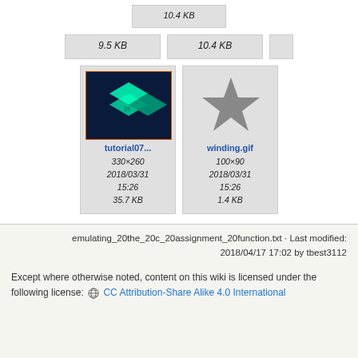[Figure (screenshot): File browser grid showing two file thumbnails in the top row (partially visible, showing file sizes 9.5 KB and 10.4 KB), and two file thumbnails: tutorial07 (3D green cube on dark background, 330x260, 2018/03/31 15:26, 35.7 KB) and winding.gif (gray star icon, 100x90, 2018/03/31 15:26, 1.4 KB)]
emulating_20the_20c_20assignment_20function.txt · Last modified: 2018/04/17 17:02 by tbest3112
Except where otherwise noted, content on this wiki is licensed under the following license: CC Attribution-Share Alike 4.0 International